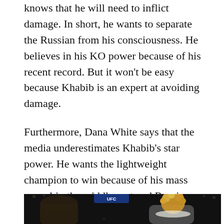knows that he will need to inflict damage. In short, he wants to separate the Russian from his consciousness. He believes in his KO power because of his recent record. But it won't be easy because Khabib is an expert at avoiding damage.
Furthermore, Dana White says that the media underestimates Khabib's star power. He wants the lightweight champion to win because of his mass appeal in the middle east and Russia. Check out Gaethje and White's comments below.
[Figure (photo): A dark photo showing two fighters/people in an arena setting with a crowd, one figure with distinctive blonde curly hair on the right side, UFC branding visible]